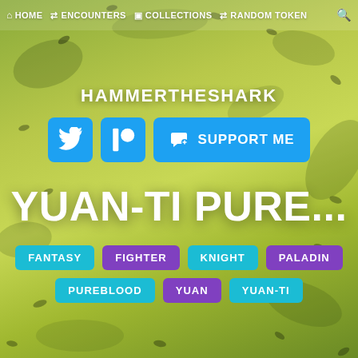[Figure (screenshot): Website screenshot with green camouflage background showing a D&D encounter generator page for HAMMERTHESHARK with navigation bar, social media buttons, title YUAN-TI PURE..., and category tags]
HOME  ENCOUNTERS  COLLECTIONS  RANDOM TOKEN
HAMMERTHESHARK
SUPPORT ME
YUAN-TI PURE...
FANTASY
FIGHTER
KNIGHT
PALADIN
PUREBLOOD
YUAN
YUAN-TI